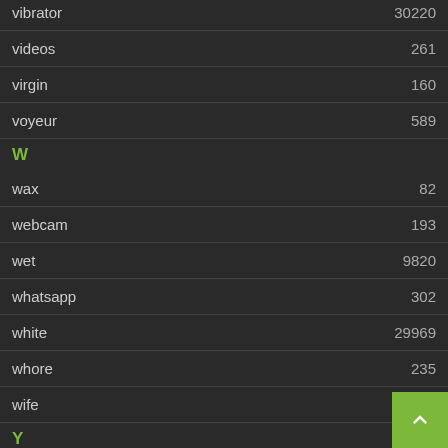| term | count |
| --- | --- |
| vibrator | 30220 |
| videos | 261 |
| virgin | 160 |
| voyeur | 589 |
W
| term | count |
| --- | --- |
| wax | 82 |
| webcam | 193 |
| wet | 9820 |
| whatsapp | 302 |
| white | 29969 |
| whore | 235 |
| wife | 90 |
Y
| term | count |
| --- | --- |
| yoga | 981 |
| young | 70851 |
Z